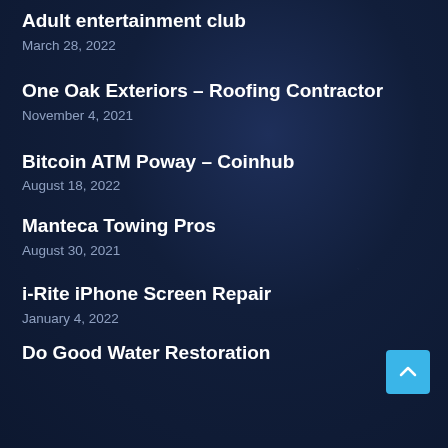Adult entertainment club
March 28, 2022
One Oak Exteriors – Roofing Contractor
November 4, 2021
Bitcoin ATM Poway – Coinhub
August 18, 2022
Manteca Towing Pros
August 30, 2021
i-Rite iPhone Screen Repair
January 4, 2022
Do Good Water Restoration